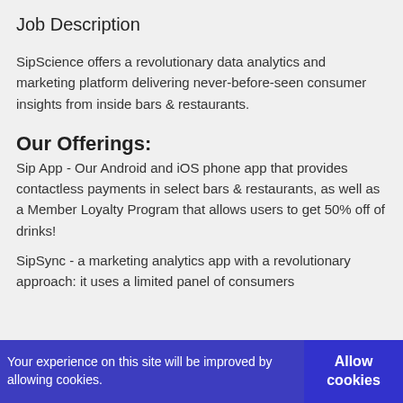Job Description
SipScience offers a revolutionary data analytics and marketing platform delivering never-before-seen consumer insights from inside bars & restaurants.
Our Offerings:
Sip App - Our Android and iOS phone app that provides contactless payments in select bars & restaurants, as well as a Member Loyalty Program that allows users to get 50% off of drinks!
SipSync - a marketing analytics app with a revolutionary approach: it uses a limited panel of consumers
Your experience on this site will be improved by allowing cookies.
Allow cookies